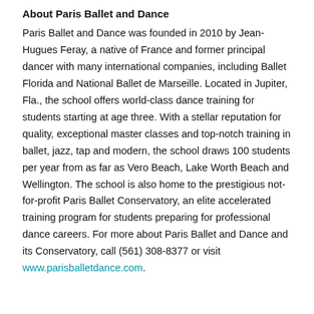About Paris Ballet and Dance
Paris Ballet and Dance was founded in 2010 by Jean-Hugues Feray, a native of France and former principal dancer with many international companies, including Ballet Florida and National Ballet de Marseille. Located in Jupiter, Fla., the school offers world-class dance training for students starting at age three. With a stellar reputation for quality, exceptional master classes and top-notch training in ballet, jazz, tap and modern, the school draws 100 students per year from as far as Vero Beach, Lake Worth Beach and Wellington. The school is also home to the prestigious not-for-profit Paris Ballet Conservatory, an elite accelerated training program for students preparing for professional dance careers. For more about Paris Ballet and Dance and its Conservatory, call (561) 308-8377 or visit www.parisballetdance.com.